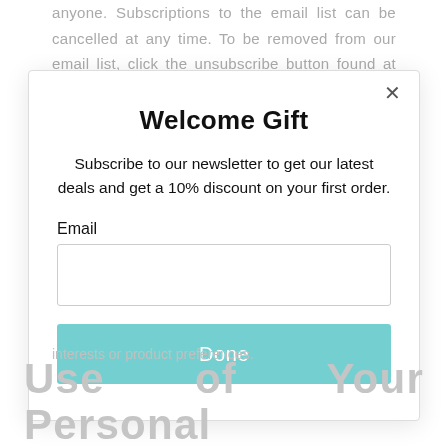anyone. Subscriptions to the email list can be cancelled at any time. To be removed from our email list, click the unsubscribe button found at the
Welcome Gift
Subscribe to our newsletter to get our latest deals and get a 10% discount on your first order.
Email
Done
interests or product preferences.
Use of Your Personal